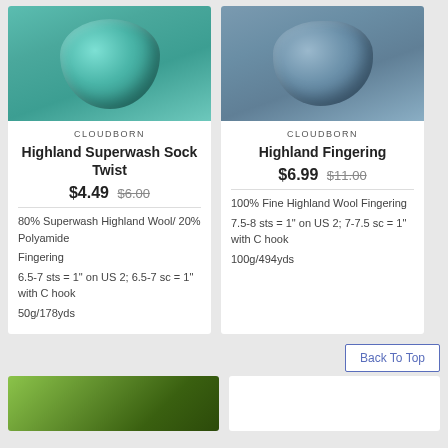[Figure (photo): Teal/green skein of yarn on grey background]
[Figure (photo): Blue-grey skein of yarn on grey background]
CLOUDBORN
Highland Superwash Sock Twist
$4.49 $6.00
80% Superwash Highland Wool/ 20% Polyamide
Fingering
6.5-7 sts = 1" on US 2; 6.5-7 sc = 1" with C hook
50g/178yds
CLOUDBORN
Highland Fingering
$6.99 $11.00
100% Fine Highland Wool Fingering
7.5-8 sts = 1" on US 2; 7-7.5 sc = 1" with C hook
100g/494yds
Back To Top
[Figure (photo): Green yarn/fiber partial view at bottom left]
[Figure (photo): White/cream partial card at bottom right]